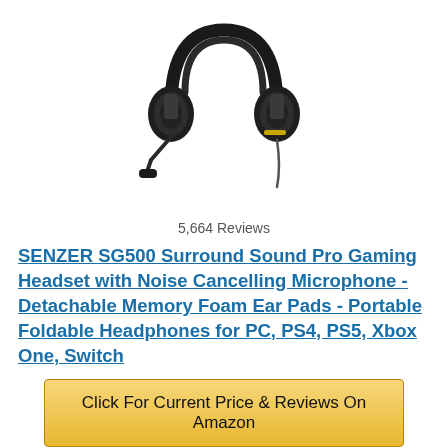[Figure (photo): Black gaming headset (SENZER SG500) with over-ear cups, padded headband, and detachable microphone on a white background.]
5,664 Reviews
SENZER SG500 Surround Sound Pro Gaming Headset with Noise Cancelling Microphone - Detachable Memory Foam Ear Pads - Portable Foldable Headphones for PC, PS4, PS5, Xbox One, Switch
Click For Current Price & Reviews On Amazon